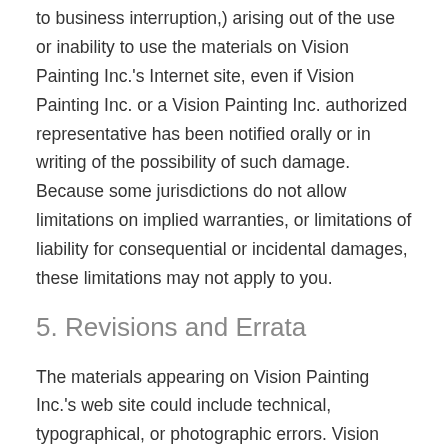to business interruption,) arising out of the use or inability to use the materials on Vision Painting Inc.'s Internet site, even if Vision Painting Inc. or a Vision Painting Inc. authorized representative has been notified orally or in writing of the possibility of such damage. Because some jurisdictions do not allow limitations on implied warranties, or limitations of liability for consequential or incidental damages, these limitations may not apply to you.
5. Revisions and Errata
The materials appearing on Vision Painting Inc.'s web site could include technical, typographical, or photographic errors. Vision Painting Inc. does not warrant that any of the materials on its web site are